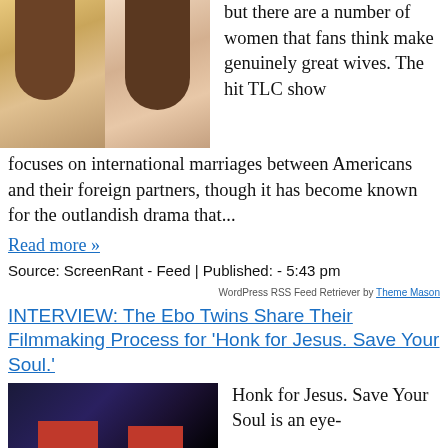[Figure (photo): Two young women smiling, side by side, both with long brown hair]
but there are a number of women that fans think make genuinely great wives. The hit TLC show focuses on international marriages between Americans and their foreign partners, though it has become known for the outlandish drama that...
Read more »
Source: ScreenRant - Feed | Published: - 5:43 pm
WordPress RSS Feed Retriever by Theme Mason
INTERVIEW: The Ebo Twins Share Their Filmmaking Process for 'Honk for Jesus. Save Your Soul.'
[Figure (photo): Dark promotional image with red graphic elements for 'Honk for Jesus. Save Your Soul.']
Honk for Jesus. Save Your Soul is an eye-